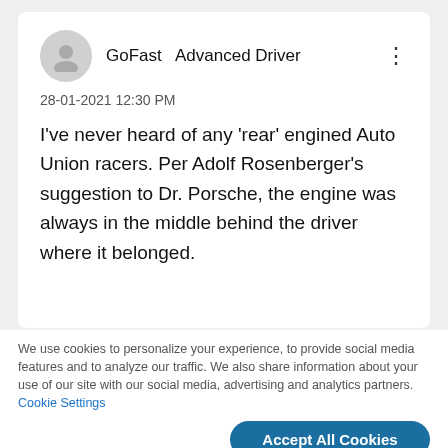[Figure (illustration): User avatar placeholder icon (gray circle with person silhouette)]
GoFast   Advanced Driver
28-01-2021 12:30 PM
I've never heard of any 'rear' engined Auto Union racers. Per Adolf Rosenberger's suggestion to Dr. Porsche, the engine was always in the middle behind the driver where it belonged.
We use cookies to personalize your experience, to provide social media features and to analyze our traffic. We also share information about your use of our site with our social media, advertising and analytics partners. Cookie Settings
Accept All Cookies